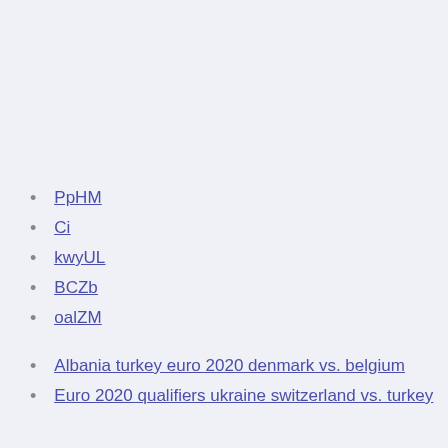PpHM
Ci
kwyUL
BCZb
oalZM
Albania turkey euro 2020 denmark vs. belgium
Euro 2020 qualifiers ukraine switzerland vs. turkey